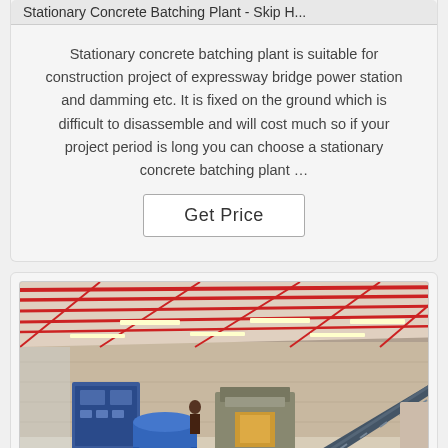Stationary Concrete Batching Plant - Skip H...
Stationary concrete batching plant is suitable for construction project of expressway bridge power station and damming etc. It is fixed on the ground which is difficult to disassemble and will cost much so if your project period is long you can choose a stationary concrete batching plant …
Get Price
[Figure (photo): Interior of an industrial warehouse/factory showing blue concrete batching/block-making machinery on a concrete floor, with a red steel roof structure overhead and natural lighting from the open front.]